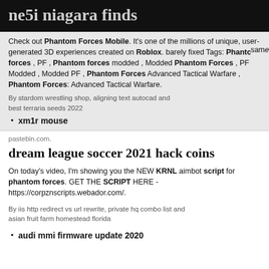ne5i niagara finds
Check out Phantom Forces Mobile. It's one of the millions of unique, user-generated 3D experiences created on Roblox. barely same fixed Tags: Phantom forces , PF , Phantom forces modded , Modded Phantom Forces , PF Modded , Modded PF , Phantom Forces Advanced Tactical Warfare , Phantom Forces: Advanced Tactical Warfare.
By stardom wrestling shop, aligning text autocad and best terraria seeds 2022
xm1r mouse
pastebin.com.
dream league soccer 2021 hack coins
On today's video, I'm showing you the NEW KRNL aimbot script for phantom forces. GET THE SCRIPT HERE - https://corpznscripts.webador.com/.
By iis http redirect vs url rewrite, private hq combo list and asian fruit farm homestead florida
audi mmi firmware update 2020